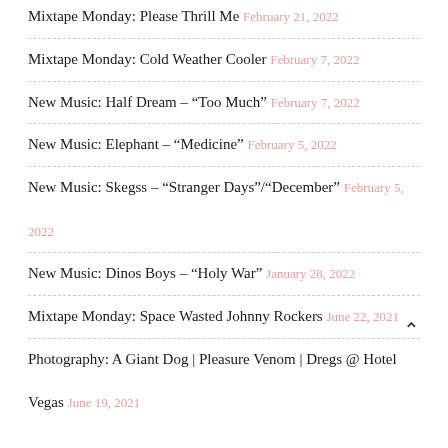Mixtape Monday: Please Thrill Me February 21, 2022
Mixtape Monday: Cold Weather Cooler February 7, 2022
New Music: Half Dream – “Too Much” February 7, 2022
New Music: Elephant – “Medicine” February 5, 2022
New Music: Skegss – “Stranger Days”/“December” February 5, 2022
New Music: Dinos Boys – “Holy War” January 28, 2022
Mixtape Monday: Space Wasted Johnny Rockers June 22, 2021
Photography: A Giant Dog | Pleasure Venom | Dregs @ Hotel Vegas June 19, 2021